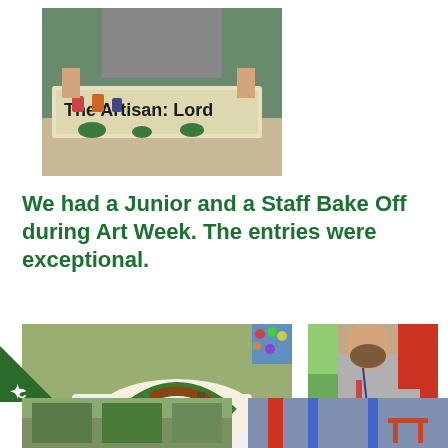[Figure (photo): Person holding a painted sign reading 'The Artisan: Lord' with cartoon characters painted on it, viewed from above on a table]
We had a Junior and a Staff Bake Off during Art Week. The entries were exceptional.
[Figure (photo): Close-up of a decorated cake with Regents Park Community Primary School design, green and brown decorations, with text 'Believe in yourself, Anything is Possible']
[Figure (photo): Man with beard wearing shirt and tie, cutting cakes on a table, wearing green gloves]
[Figure (photo): Partial view of a photo at bottom left, showing green scene]
[Figure (photo): Partial view of a photo at bottom right, showing blue and red colors]